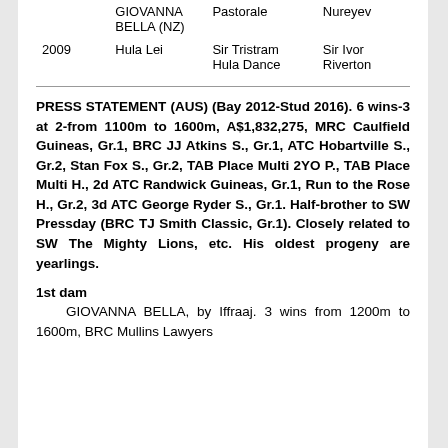| Year | Name | Sire | Dam |
| --- | --- | --- | --- |
|  | GIOVANNA BELLA (NZ) | Pastorale | Nureyev |
| 2009 | Hula Lei | Sir Tristram
Hula Dance | Sir Ivor
Riverton |
PRESS STATEMENT (AUS) (Bay 2012-Stud 2016). 6 wins-3 at 2-from 1100m to 1600m, A$1,832,275, MRC Caulfield Guineas, Gr.1, BRC JJ Atkins S., Gr.1, ATC Hobartville S., Gr.2, Stan Fox S., Gr.2, TAB Place Multi 2YO P., TAB Place Multi H., 2d ATC Randwick Guineas, Gr.1, Run to the Rose H., Gr.2, 3d ATC George Ryder S., Gr.1. Half-brother to SW Pressday (BRC TJ Smith Classic, Gr.1). Closely related to SW The Mighty Lions, etc. His oldest progeny are yearlings.
1st dam
GIOVANNA BELLA, by Iffraaj. 3 wins from 1200m to 1600m, BRC Mullins Lawyers